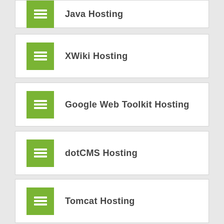Java Hosting
XWiki Hosting
Google Web Toolkit Hosting
dotCMS Hosting
Tomcat Hosting
Adult Java Hosting